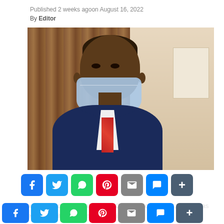Published 2 weeks ago on August 16, 2022
By Editor
[Figure (photo): Man in blue suit wearing a light blue face mask, photographed against a background with curtains and light-coloured wall]
[Figure (infographic): Social media share buttons: Facebook, Twitter, WhatsApp, Pinterest, Email, Messenger, More]
The Economic and Financial Crimes Commission, EFCC, said it has recovered an additional sum of one billion, four